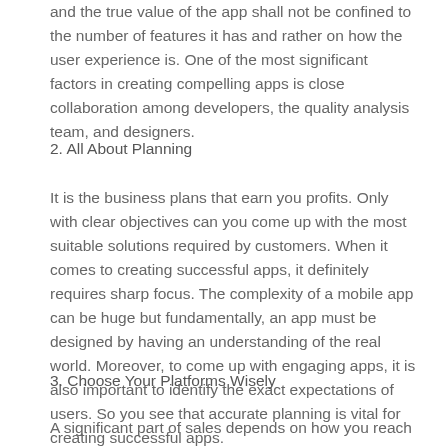and the true value of the app shall not be confined to the number of features it has and rather on how the user experience is. One of the most significant factors in creating compelling apps is close collaboration among developers, the quality analysis team, and designers.
2. All About Planning
It is the business plans that earn you profits. Only with clear objectives can you come up with the most suitable solutions required by customers. When it comes to creating successful apps, it definitely requires sharp focus. The complexity of a mobile app can be huge but fundamentally, an app must be designed by having an understanding of the real world. Moreover, to come up with engaging apps, it is also important to identify the exact expectations of users. So you see that accurate planning is vital for creating successful apps.
3. Choose Your Platforms Wisely
A significant part of sales depends on how you reach